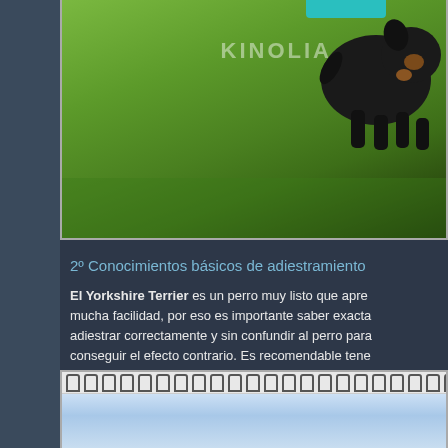[Figure (photo): A black dog (likely a Yorkshire Terrier or similar breed) on a green grass lawn, with a teal/green object in the upper left. Watermark text 'KINOLIA' visible.]
2º Conocimientos básicos de adiestramiento
El Yorkshire Terrier es un perro muy listo que apre mucha facilidad, por eso es importante saber exacta adiestrar correctamente y sin confundir al perro para conseguir el efecto contrario. Es recomendable tene conocimientos básicos de adiestramiento, ser perse desistir.
[Figure (photo): Bottom of page showing a spiral notebook with metal rings at the top and a photo or image beneath it, partially visible.]